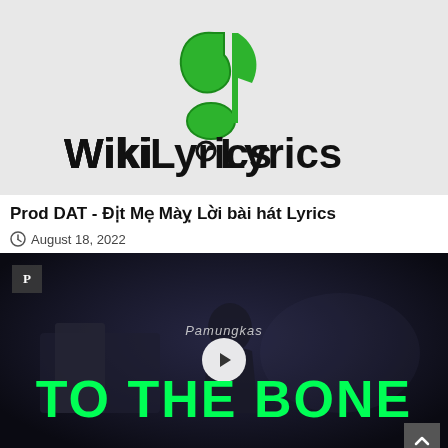[Figure (logo): WikiLyrics logo: green musical note icon above the text 'WikiLyrics' on a light gray background]
Prod DAT - Địt Mẹ Màỵ Lời bài hát Lyrics
August 18, 2022
[Figure (screenshot): Video thumbnail showing a person at a piano in dark atmospheric lighting, with 'Pamungkas' text, a play button in the center, and large green bold text 'TO THE BONE' at the bottom. A 'P' badge is in the top-left corner. A scroll-to-top button is in the bottom-right.]